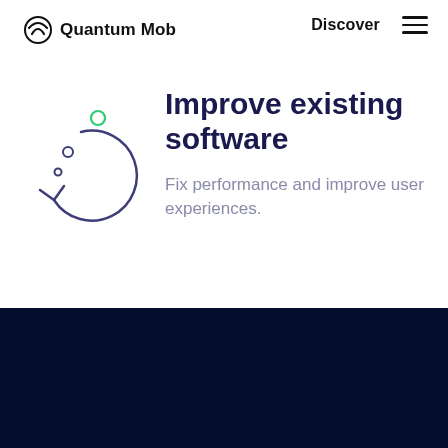Quantum Mob — Discover
[Figure (illustration): Circular refresh/reload icon with arrow and small circles, drawn in dark blue/navy outline style with a green circle accent]
Improve existing software
Fix performance and improve user experiences.
[Figure (logo): Quantum Mob logo in white on dark navy background with chat bubble icon button]